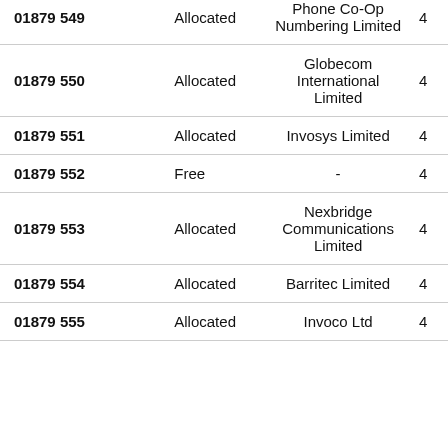| Number | Status | Operator |  |
| --- | --- | --- | --- |
| 01879 549 | Allocated | Phone Co-Op Numbering Limited | 4 |
| 01879 550 | Allocated | Globecom International Limited | 4 |
| 01879 551 | Allocated | Invosys Limited | 4 |
| 01879 552 | Free | - | 4 |
| 01879 553 | Allocated | Nexbridge Communications Limited | 4 |
| 01879 554 | Allocated | Barritec Limited | 4 |
| 01879 555 | Allocated | Invoco Ltd | 4 |